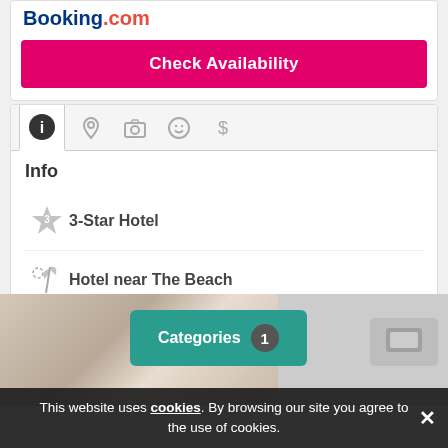[Figure (logo): Booking.com logo with blue 'Booking' and red '.com' text]
Check Availability
[Figure (screenshot): Tab bar with info (active/black circle 'i'), location pin, camera, smiley face, and dollar sign icons]
Info
3-Star Hotel
Hotel near The Beach
Hotel with Spa
Show more ▾
[Figure (photo): Bottom portion of page showing partial hotel room image with teal 'Categories 1' button overlay]
This website uses cookies. By browsing our site you agree to the use of cookies.